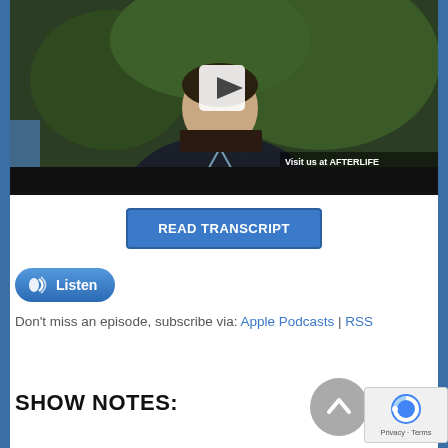[Figure (screenshot): Video thumbnail showing a man in a dark blazer seated outdoors with green foliage background. A play button is visible in the center. Watermark reads 'Visit us at AFTERLIFE'. Black video controls bar at bottom.]
READ TRANSCRIPT
Listen
Don't miss an episode, subscribe via: Apple Podcasts | RSS
SHOW NOTES: